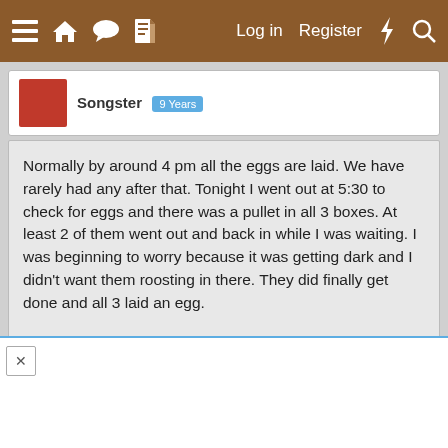≡  🏠  💬  📄    Log in   Register  ⚡  🔍
Songster  9 Years
Normally by around 4 pm all the eggs are laid. We have rarely had any after that. Tonight I went out at 5:30 to check for eggs and there was a pullet in all 3 boxes. At least 2 of them went out and back in while I was waiting. I was beginning to worry because it was getting dark and I didn't want them roosting in there. They did finally get done and all 3 laid an egg.

Also we had 10 eggs today from 11 pullets. No supplemental light.